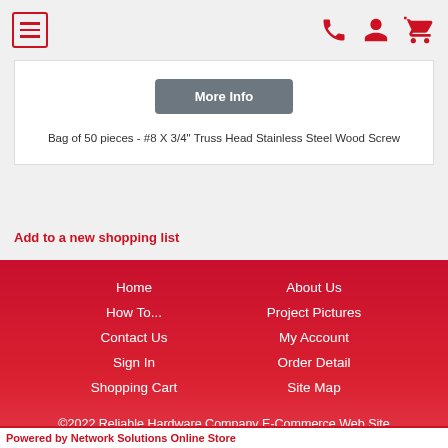Navigation header with menu icon, phone, account, and cart icons
[Figure (screenshot): More Info button (gray) above product title]
Bag of 50 pieces - #8 X 3/4" Truss Head Stainless Steel Wood Screw
Add to a new shopping list
Home
How To...
Contact Us
Sign In
Shopping Cart
About Us
Project Pictures
My Account
Order Detail
Site Map
©2022 Reliable Hardware Company E-Commerce Web Site
Powered by Network Solutions Online Store